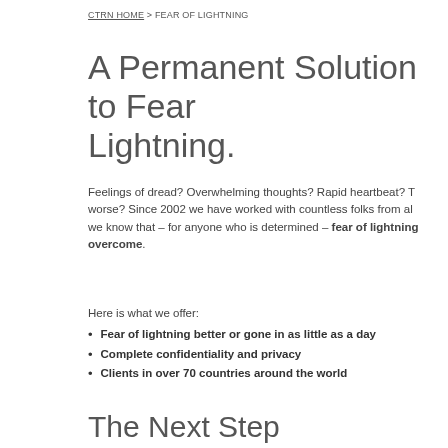CTRN HOME > FEAR OF LIGHTNING
A Permanent Solution to Fear of Lightning.
Feelings of dread? Overwhelming thoughts? Rapid heartbeat? T... worse? Since 2002 we have worked with countless folks from al... we know that – for anyone who is determined – fear of lightning... overcome.
Here is what we offer:
Fear of lightning better or gone in as little as a day
Complete confidentiality and privacy
Clients in over 70 countries around the world
The Next Step